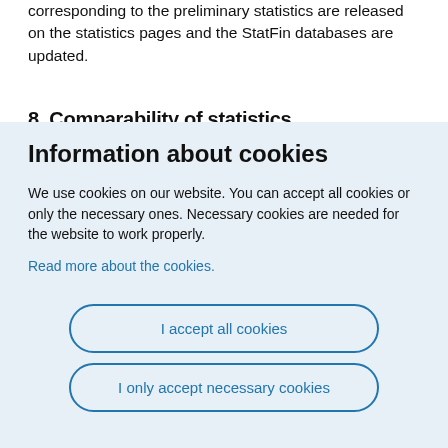corresponding to the preliminary statistics are released on the statistics pages and the StatFin databases are updated.
8. Comparability of statistics
Information about cookies
We use cookies on our website. You can accept all cookies or only the necessary ones. Necessary cookies are needed for the website to work properly.
Read more about the cookies.
I accept all cookies
I only accept necessary cookies